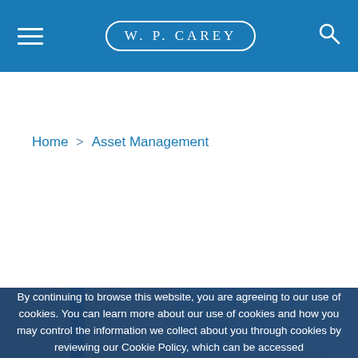W.P. CAREY
Home > Asset Management
[Figure (photo): Partial view of a building exterior — beige/tan facade with a blue accent stripe and pale blue sky]
By continuing to browse this website, you are agreeing to our use of cookies. You can learn more about our use of cookies and how you may control the information we collect about you through cookies by reviewing our Cookie Policy, which can be accessed